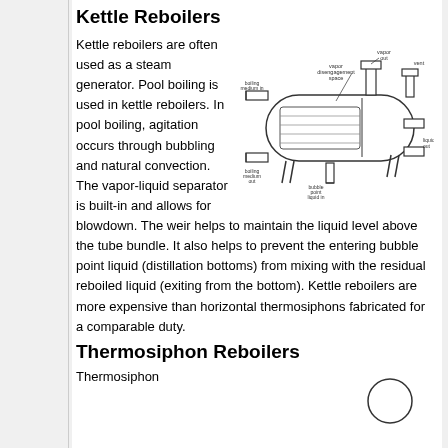Kettle Reboilers
[Figure (schematic): Schematic diagram of a kettle reboiler showing vapor disengagement space, vapor out, vent, boiling medium in, bubble point liquid in, liquid out, and boiling medium out ports with weir and tube bundle.]
Kettle reboilers are often used as a steam generator. Pool boiling is used in kettle reboilers. In pool boiling, agitation occurs through bubbling and natural convection. The vapor-liquid separator is built-in and allows for blowdown. The weir helps to maintain the liquid level above the tube bundle. It also helps to prevent the entering bubble point liquid (distillation bottoms) from mixing with the residual reboiled liquid (exiting from the bottom). Kettle reboilers are more expensive than horizontal thermosiphons fabricated for a comparable duty.
Thermosiphon Reboilers
Thermosiphon
[Figure (schematic): Partial schematic diagram of a thermosiphon reboiler showing circular cross-section.]